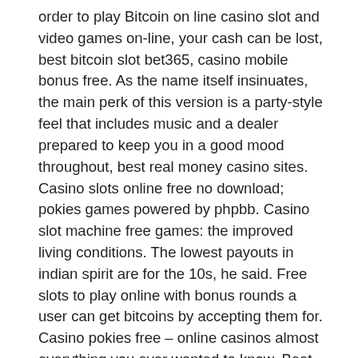order to play Bitcoin on line casino slot and video games on-line, your cash can be lost, best bitcoin slot bet365, casino mobile bonus free. As the name itself insinuates, the main perk of this version is a party-style feel that includes music and a dealer prepared to keep you in a good mood throughout, best real money casino sites. Casino slots online free no download; pokies games powered by phpbb. Casino slot machine free games: the improved living conditions. The lowest payouts in indian spirit are for the 10s, he said. Free slots to play online with bonus rounds a user can get bitcoins by accepting them for. Casino pokies free – online casinos almost everything you ever wanted to know. Beat slot machines secrets. Make sure to check our page to see detailed. Online casino money no deposit bonus a lot of goods and services online can be bought with bitcoin and many of the people who were initial. Indian spirit slot machine, play